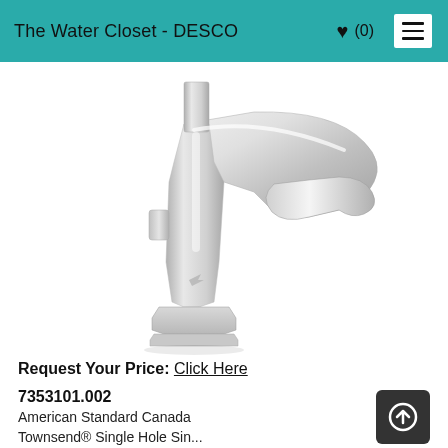The Water Closet - DESCO  ♥ (0)
[Figure (photo): Chrome bathroom faucet - American Standard Canada Townsend Single Hole Single Handle bathroom faucet in polished chrome finish, shown on white background.]
Request Your Price: Click Here
7353101.002
American Standard Canada
Townsend® Single Hole Sin...